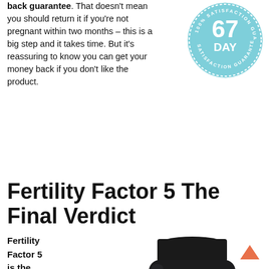back guarantee. That doesn't mean you should return it if you're not pregnant within two months – this is a big step and it takes time. But it's reassuring to know you can get your money back if you don't like the product.
[Figure (illustration): Circular badge reading '100% Satisfaction Guarantee' with '67 DAY' in the center, teal/light blue color]
Fertility Factor 5 The Final Verdict
Fertility Factor 5 is the best male fertility
[Figure (photo): Dark bottle of VigRX Fertility Factor 5 supplement with black cap and white label showing brand name in red and black text]
[Figure (illustration): Pink/coral upward arrow icon in bottom right corner]